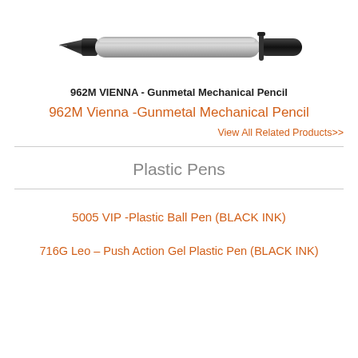[Figure (photo): A gunmetal mechanical pencil with black accents, shown horizontally against a white background.]
962M VIENNA - Gunmetal Mechanical Pencil
962M Vienna -Gunmetal Mechanical Pencil
View All Related Products>>
Plastic Pens
5005 VIP -Plastic Ball Pen (BLACK INK)
716G Leo – Push Action Gel Plastic Pen (BLACK INK)